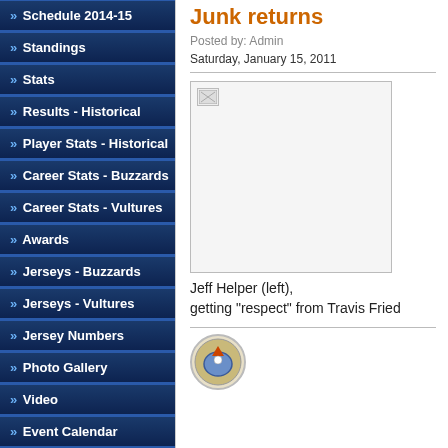» Schedule 2014-15
» Standings
» Stats
» Results - Historical
» Player Stats - Historical
» Career Stats - Buzzards
» Career Stats - Vultures
» Awards
» Jerseys - Buzzards
» Jerseys - Vultures
» Jersey Numbers
» Photo Gallery
» Video
» Event Calendar
» FTBO Golf
» NHL Loser Pool
» News Archives
VISITOR POLL
Junk returns
Posted by: Admin
Saturday, January 15, 2011
[Figure (photo): Broken image placeholder - photo of Jeff Helper (left) getting 'respect' from Travis Fried]
Jeff Helper (left), getting "respect" from Travis Fried